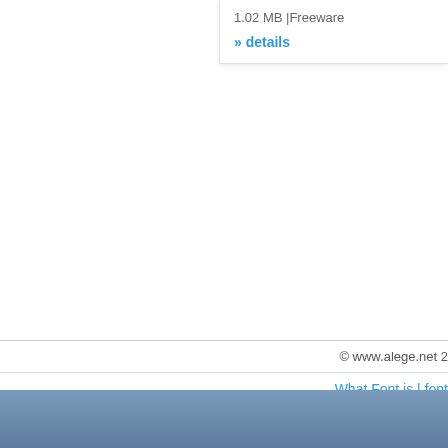1.02 MB |Freeware
» details
© www.alege.net 2
What Font is | font
termeni si conditii